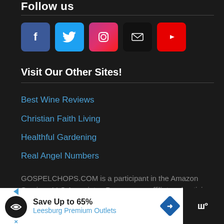Follow us
[Figure (screenshot): Row of five social media icon buttons: Facebook (blue), Twitter (light blue), Instagram (pink/red gradient), Email (black), YouTube (red)]
Visit Our Other Sites!
Best Wine Reviews
Christian Faith Living
Healthful Gardening
Real Angel Numbers
GOSPELCHOPS.COM is a participant in the Amazon Services LLC Associates Program, an affiliate advertising program designed to
[Figure (screenshot): Advertisement bar: Save Up to 65% Leesburg Premium Outlets with logos]